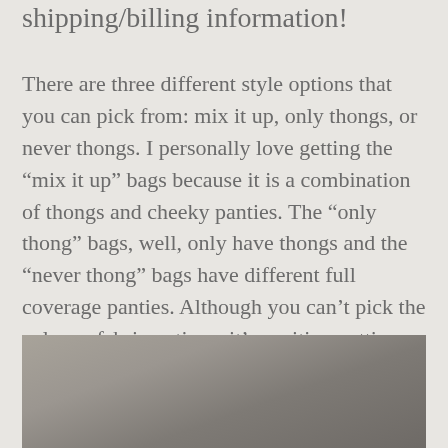shipping/billing information!
There are three different style options that you can pick from: mix it up, only thongs, or never thongs. I personally love getting the “mix it up” bags because it is a combination of thongs and cheeky panties. The “only thong” bags, well, only have thongs and the “never thong” bags have different full coverage panties. Although you can’t pick the color or fabric options, it’s exciting getting a surprise undies in your mailbox every month.
[Figure (photo): Partially visible photo with a grey/taupe blurred background, appearing to show a product or flat lay image.]